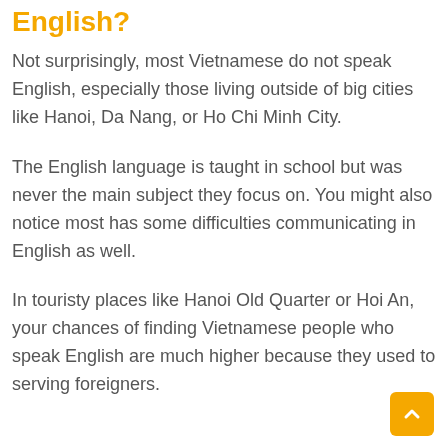English?
Not surprisingly, most Vietnamese do not speak English, especially those living outside of big cities like Hanoi, Da Nang, or Ho Chi Minh City.
The English language is taught in school but was never the main subject they focus on. You might also notice most has some difficulties communicating in English as well.
In touristy places like Hanoi Old Quarter or Hoi An, your chances of finding Vietnamese people who speak English are much higher because they used to serving foreigners.